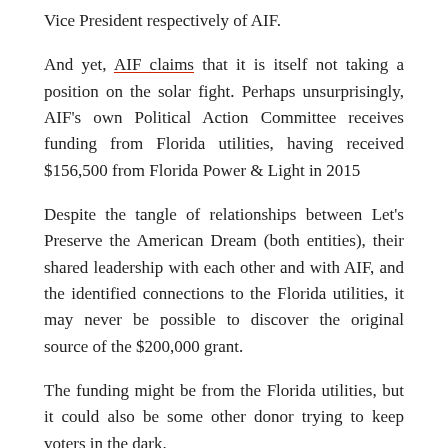Vice President respectively of AIF.
And yet, AIF claims that it is itself not taking a position on the solar fight. Perhaps unsurprisingly, AIF's own Political Action Committee receives funding from Florida utilities, having received $156,500 from Florida Power & Light in 2015
Despite the tangle of relationships between Let's Preserve the American Dream (both entities), their shared leadership with each other and with AIF, and the identified connections to the Florida utilities, it may never be possible to discover the original source of the $200,000 grant.
The funding might be from the Florida utilities, but it could also be some other donor trying to keep voters in the dark.